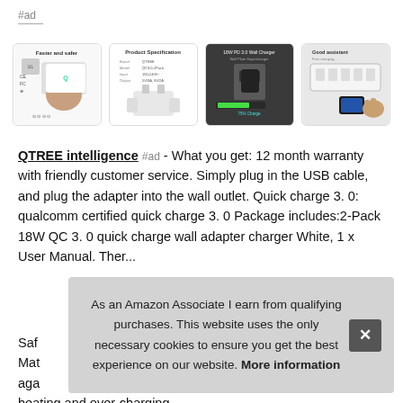#ad
[Figure (photo): Four product images of a wall charger adapter: 1) hand holding charger with 'Faster and safer' text and certification logos; 2) product specification sheet showing charger components; 3) charger plugged into wall outlet with phone charging glow; 4) charger plugged into power strip with phone nearby]
QTREE intelligence #ad - What you get: 12 month warranty with friendly customer service. Simply plug in the USB cable, and plug the adapter into the wall outlet. Quick charge 3. 0: qualcomm certified quick charge 3. 0 Package includes:2-Pack 18W QC 3. 0 quick charge wall adapter charger White, 1 x User Manual. Ther...
Safe...
Mat...
aga...
heating and over-charging.
As an Amazon Associate I earn from qualifying purchases. This website uses the only necessary cookies to ensure you get the best experience on our website. More information